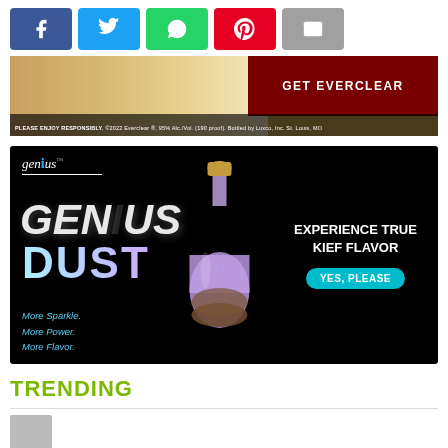[Figure (infographic): Social sharing buttons: Facebook (blue), Twitter (light blue), WhatsApp (green), Pinterest (red), Email (gray)]
[Figure (infographic): Advertisement banner for Everclear alcohol. Shows whiskey glasses, dropper bottle, with dark red panel on right reading GET EVERCLEAR. Disclaimer: PLEASE ENJOY RESPONSIBLY. ©2022 Everclear ®, 95% Alc./Vol. (190 proof). Bottled by Luxco, Inc. St. Louis, MO]
[Figure (infographic): Advertisement for Genius Dust product. Black background. Logo: genius™ in white italic. Large bold italic text GENIUS. Colored gradient text DUST (light blue to purple). Purple flask bottle with cork containing powder. Right side: EXPERIENCE TRUE KIEF FLAVOR with teal rounded button YES, PLEASE. Lower left: italic text More Sparkle. More Power. More Flavor. in teal/blue.]
TRENDING